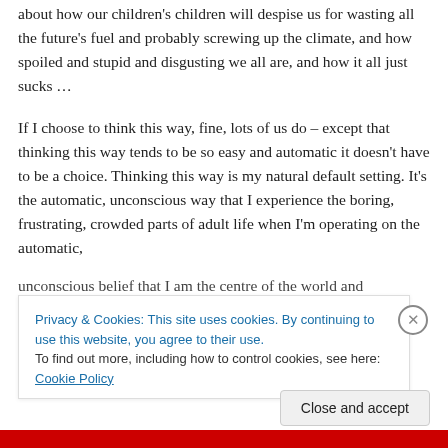about how our children's children will despise us for wasting all the future's fuel and probably screwing up the climate, and how spoiled and stupid and disgusting we all are, and how it all just sucks …
If I choose to think this way, fine, lots of us do – except that thinking this way tends to be so easy and automatic it doesn't have to be a choice. Thinking this way is my natural default setting. It's the automatic, unconscious way that I experience the boring, frustrating, crowded parts of adult life when I'm operating on the automatic, unconscious belief that I am the centre of the world and
Privacy & Cookies: This site uses cookies. By continuing to use this website, you agree to their use.
To find out more, including how to control cookies, see here: Cookie Policy
Close and accept